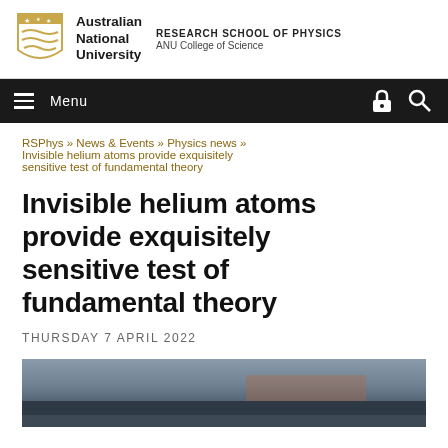[Figure (logo): Australian National University shield logo with gold crest and waves, next to university name and Research School of Physics, ANU College of Science]
Menu
RSPhys » News & Events » Physics news » Invisible helium atoms provide exquisitely sensitive test of fundamental theory
Invisible helium atoms provide exquisitely sensitive test of fundamental theory
THURSDAY 7 APRIL 2022
[Figure (photo): Partial photo of laboratory equipment, showing metal structures and cables against a grey background]